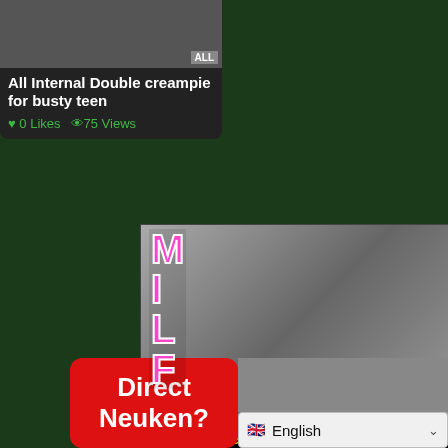[Figure (screenshot): Video thumbnail card with title 'All Internal Double creampie for busty teen', 0 Likes, 75 Views]
[Figure (advertisement): MILF adult dating advertisement banner with black and white image and text 'Gratis Aanmelden - Vanavond nog neuken']
[Figure (advertisement): Red button advertisement 'Direct Neuken?' with photo and English language selector dropdown]